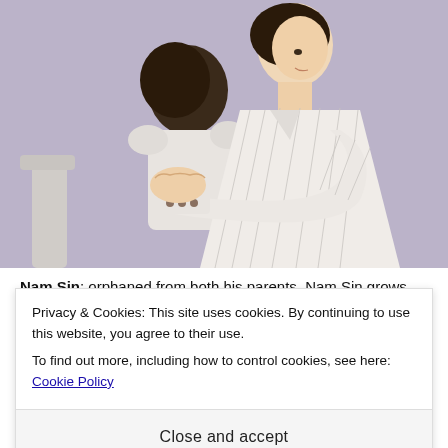[Figure (photo): Two people embracing — a taller person in a white pinstripe blazer hugging a shorter person with dark hair, against a lavender/purple background.]
Nam Sin: orphaned from both his parents, Nam Sin grows
Privacy & Cookies: This site uses cookies. By continuing to use this website, you agree to their use.
To find out more, including how to control cookies, see here: Cookie Policy

Close and accept
Nam Sin 3: Nam Sin 1 and 2 were the earlier versions of